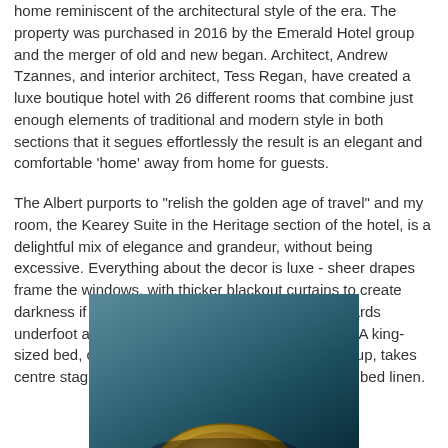home reminiscent of the architectural style of the era. The property was purchased in 2016 by the Emerald Hotel group and the merger of old and new began. Architect, Andrew Tzannes, and interior architect, Tess Regan, have created a luxe boutique hotel with 26 different rooms that combine just enough elements of traditional and modern style in both sections that it segues effortlessly the result is an elegant and comfortable 'home' away from home for guests.
The Albert purports to "relish the golden age of travel" and my room, the Kearey Suite in the Heritage section of the hotel, is a delightful mix of elegance and grandeur, without being excessive. Everything about the decor is luxe - sheer drapes frame the windows, with thicker blackout curtains to create darkness if preferred. Carpets and polished floorboards underfoot are sumptuous, as is the velvet bedhead. A king-sized bed, custom made for the Emerald Hotels group, takes centre stage in the room and is dressed with quality bed linen.
[Figure (photo): A photograph showing what appears to be a decorative coin or medallion object against a dark teal/blue-green background. The object is partially visible at the bottom of the image, showing a textured, golden-brown circular form.]